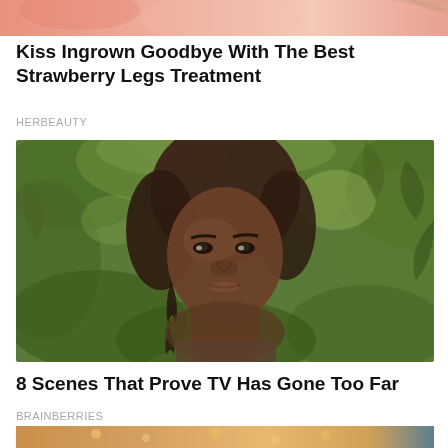[Figure (photo): Top portion of a cropped photo with pinkish-salmon skin tones, partially visible]
Kiss Ingrown Goodbye With The Best Strawberry Legs Treatment
HERBEAUTY
[Figure (photo): Woman with dark skin and braided hair standing in front of lush green tropical foliage, looking directly at camera with a serious expression]
8 Scenes That Prove TV Has Gone Too Far
BRAINBERRIES
[Figure (photo): Close-up of textured skin with golden/orange tones, partially visible at bottom of page]